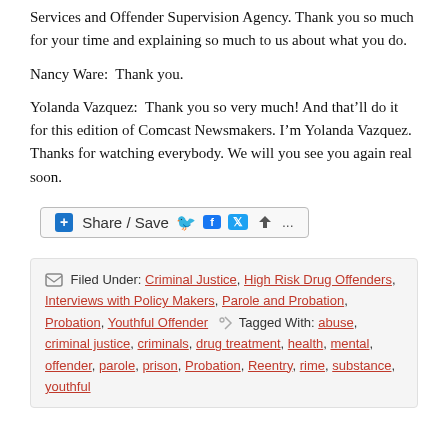Services and Offender Supervision Agency. Thank you so much for your time and explaining so much to us about what you do.
Nancy Ware:  Thank you.
Yolanda Vazquez:  Thank you so very much! And that’ll do it for this edition of Comcast Newsmakers. I’m Yolanda Vazquez. Thanks for watching everybody. We will you see you again real soon.
[Figure (other): Share / Save social sharing button bar with Facebook, Twitter, and more icons]
Filed Under: Criminal Justice, High Risk Drug Offenders, Interviews with Policy Makers, Parole and Probation, Probation, Youthful Offender • Tagged With: abuse, criminal justice, criminals, drug treatment, health, mental, offender, parole, prison, Probation, Reentry, rime, substance, youthful